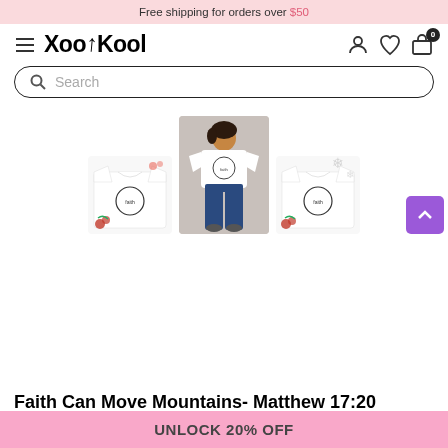Free shipping for orders over $50
[Figure (logo): XooiKool brand logo with hamburger menu icon and navigation icons (user, heart, cart with 0 badge)]
[Figure (screenshot): Search bar with magnifying glass icon and placeholder text 'Search']
[Figure (photo): Three product thumbnail images of a white graphic t-shirt with faith-themed design: two flat lay shots with holiday decorations, one model photo]
Faith Can Move Mountains- Matthew 17:20
UNLOCK 20% OFF